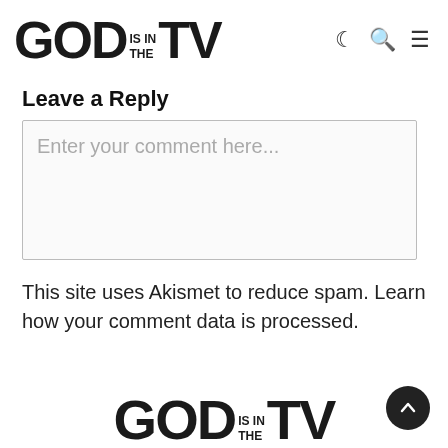GOD IS IN THE TV
Leave a Reply
Enter your comment here...
This site uses Akismet to reduce spam. Learn how your comment data is processed.
[Figure (logo): GOD IS IN THE TV logo repeated at bottom of page]